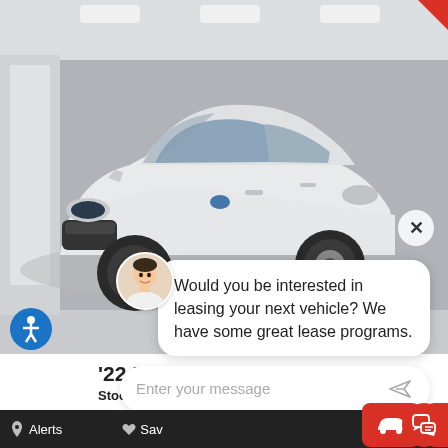[Figure (photo): White Ford Escape SUV photographed in a clean white showroom/garage setting, front-left 3/4 view]
360° Walk
[Figure (screenshot): Live chat widget overlay with agent avatar (female), chat bubble: 'Would you be interested in leasing your next vehicle? We have some great lease programs.' and message input box 'Enter your message']
Would you be interested in leasing your next vehicle? We have some great lease programs.
Enter your message
'22 Ford Escape SE
Stock: NUA98132
Alerts  Save  Chat Live
Chat Live